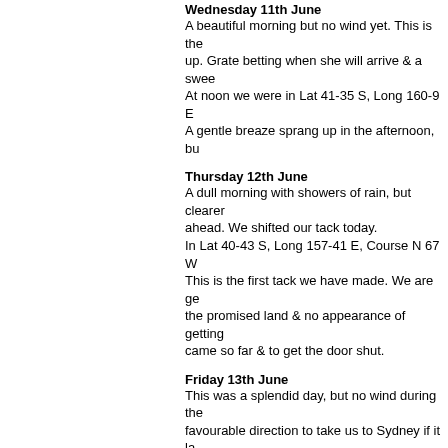Wednesday 11th June
A beautiful morning but no wind yet. This is the up. Grate betting when she will arrive & a swee At noon we were in Lat 41-35 S, Long 160-9 E A gentle breaze sprang up in the afternoon, bu
Thursday 12th June
A dull morning with showers of rain, but clearer ahead. We shifted our tack today. In Lat 40-43 S, Long 157-41 E, Course N 67 W This is the first tack we have made. We are ge the promised land & no appearance of getting came so far & to get the door shut.
Friday 13th June
This was a splendid day, but no wind during the favourable direction to take us to Sydney if it la near the coast. At noon we were in Lat 40-11 S, Long 154-27 E
Saturday 14th June
Another good day and still a fovourable wind, a up out of the locker and attached to the anchor around the deck. At noon we were in Lat 37-58 S, Long 154-55 E
Sunday 15th June
This is rather a dull day with showers of rain, b looks rather rough & the anchors was swung re At noon we were in Lat 35-16 S, Long 153-4 E